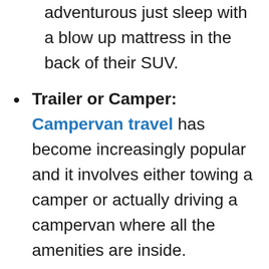adventurous just sleep with a blow up mattress in the back of their SUV.
Trailer or Camper: Campervan travel has become increasingly popular and it involves either towing a camper or actually driving a campervan where all the amenities are inside.
Backcountry Camping: This